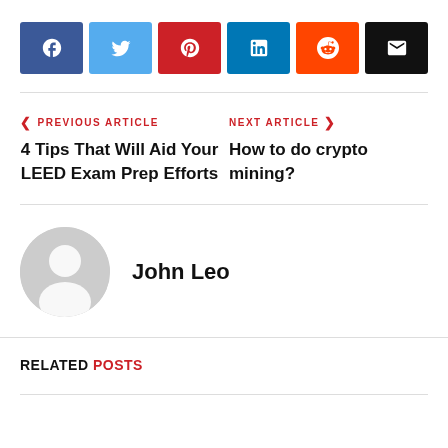[Figure (infographic): Social share buttons: Facebook (blue), Twitter (light blue), Pinterest (red), LinkedIn (dark teal), Reddit (orange), Email (black)]
< PREVIOUS ARTICLE
4 Tips That Will Aid Your LEED Exam Prep Efforts
NEXT ARTICLE >
How to do crypto mining?
John Leo
RELATED POSTS